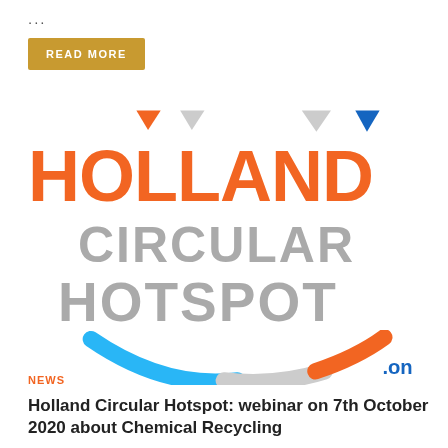...
READ MORE
[Figure (logo): Holland Circular Hotspot logo with orange HOLLAND text, grey CIRCULAR HOTSPOT text, decorative triangles at top, and a colorful arc (blue, grey, orange) at the bottom with '.on' text]
NEWS
Holland Circular Hotspot: webinar on 7th October 2020 about Chemical Recycling